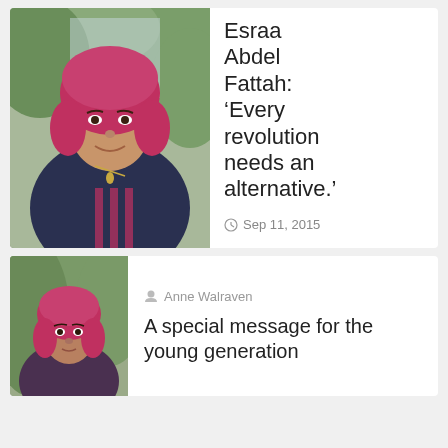[Figure (photo): Photo of Esraa Abdel Fattah, a woman wearing a pink/red headscarf and dark embroidered top, smiling, with green foliage in the background]
Esraa Abdel Fattah: 'Every revolution needs an alternative.'
Sep 11, 2015
[Figure (photo): Smaller photo of a woman with a red/pink hijab standing in front of green foliage]
Anne Walraven
A special message for the young generation